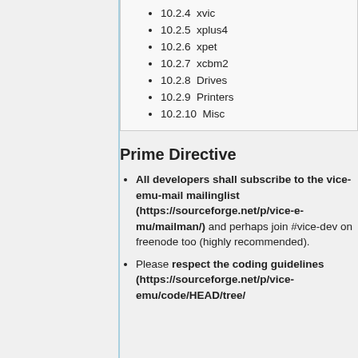10.2.4  xvic
10.2.5  xplus4
10.2.6  xpet
10.2.7  xcbm2
10.2.8  Drives
10.2.9  Printers
10.2.10  Misc
Prime Directive
All developers shall subscribe to the vice-emu-mail mailinglist (https://sourceforge.net/p/vice-emu/mailman/) and perhaps join #vice-dev on freenode too (highly recommended).
Please respect the coding guidelines (https://sourceforge.net/p/vice-emu/code/HEAD/tree/